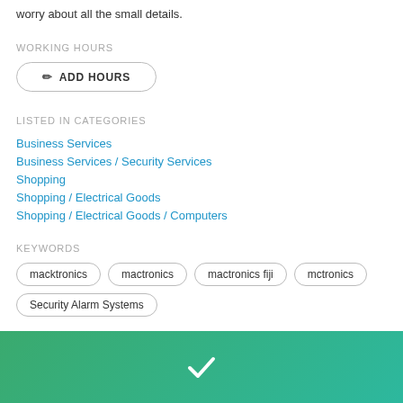worry about all the small details.
WORKING HOURS
ADD HOURS
LISTED IN CATEGORIES
Business Services
Business Services / Security Services
Shopping
Shopping / Electrical Goods
Shopping / Electrical Goods / Computers
KEYWORDS
macktronics
mactronics
mactronics fiji
mctronics
Security Alarm Systems
[Figure (illustration): Green gradient banner with a white checkmark icon]